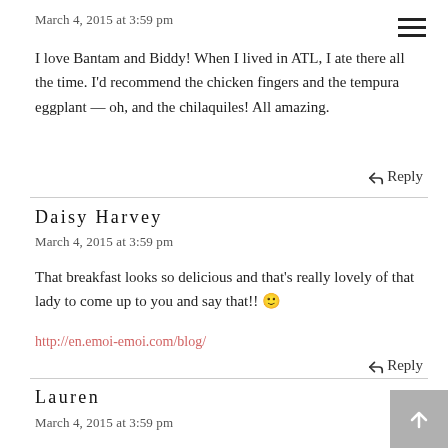☰ (hamburger menu icon)
March 4, 2015 at 3:59 pm
I love Bantam and Biddy! When I lived in ATL, I ate there all the time. I'd recommend the chicken fingers and the tempura eggplant — oh, and the chilaquiles! All amazing.
↩ Reply
Daisy Harvey
March 4, 2015 at 3:59 pm
That breakfast looks so delicious and that's really lovely of that lady to come up to you and say that!! 🙂
http://en.emoi-emoi.com/blog/
↩ Reply
Lauren
March 4, 2015 at 3:59 pm